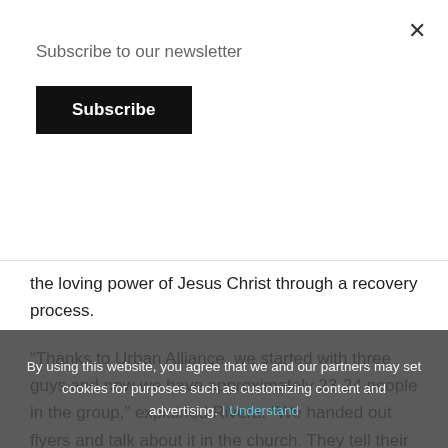Subscribe to our newsletter
Subscribe
the loving power of Jesus Christ through a recovery process.
“Thanks to Urban Alliance, we started with three guys and now we have approximately 23-24 people in the group,” explained Rivera. “We handed out flyers and talk about it in the church. They tell their friends and it’s getting filled up.”
By using this website, you agree that we and our partners may set cookies for purposes such as customizing content and advertising. I Understand
Rivera added: “The curriculum that we use helps individuals that are in need of transformation, a Christ-based 12-step curriculum to teach Christian principles and coping skills